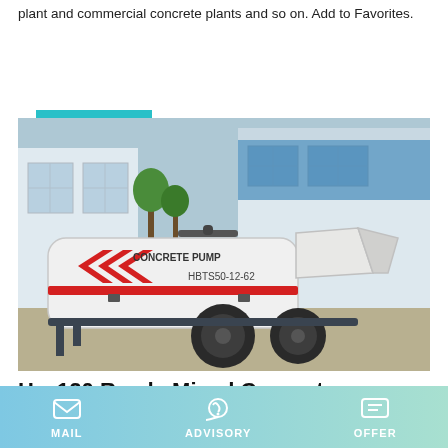plant and commercial concrete plants and so on. Add to Favorites.
Learn More
[Figure (photo): White concrete pump machine labeled 'CONCRETE PUMP' and 'HBTS50-12-62' with red chevron markings, mounted on wheels/trailer, parked on a concrete surface in front of an industrial building.]
Hzs120 Ready Mixed Concrete Mi...
MAIL | ADVISORY | OFFER